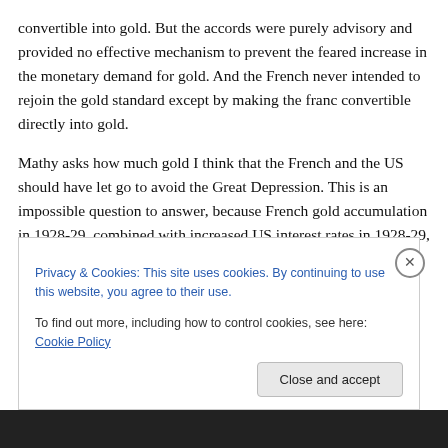convertible into gold. But the accords were purely advisory and provided no effective mechanism to prevent the feared increase in the monetary demand for gold. And the French never intended to rejoin the gold standard except by making the franc convertible directly into gold.
Mathy asks how much gold I think that the French and the US should have let go to avoid the Great Depression. This is an impossible question to answer, because French gold accumulation in 1928-29, combined with increased US interest rates in 1928-29, which caused a nearly equivalent gold inflow into the US, triggered deflation in
Privacy & Cookies: This site uses cookies. By continuing to use this website, you agree to their use.
To find out more, including how to control cookies, see here: Cookie Policy